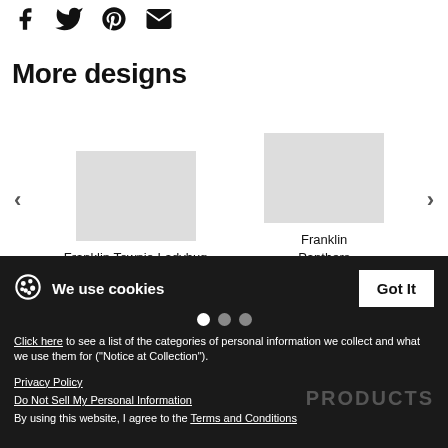[Figure (other): Social sharing icons: Facebook, Twitter, Pinterest, Email/envelope]
More designs
[Figure (other): Carousel showing two product designs: Franklin Townie Ladybug and Franklin Panthers, with left and right navigation arrows]
Franklin Townie Ladybug
Franklin Panthers
We use cookies
Click here to see a list of the categories of personal information we collect and what we use them for ("Notice at Collection").
Privacy Policy
Do Not Sell My Personal Information
By using this website, I agree to the Terms and Conditions
PRODUCTS